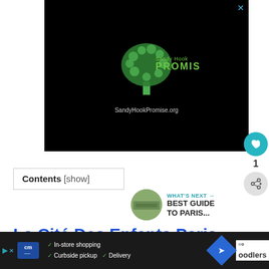[Figure (logo): Sandy Hook Promise advertisement on black background with green tree logo made of handprints, text 'Sandy Hook PROMISE' and 'SandyHookPromise.org']
Contents [show]
WHAT'S NEXT → BEST GUIDE TO PARIS...
La Cité Des Enfants Paris
[Figure (infographic): Bottom advertisement bar on dark background showing: cm logo, In-store shopping, Curbside pickup, Delivery checkmarks, navigation icon, and toddlers text]